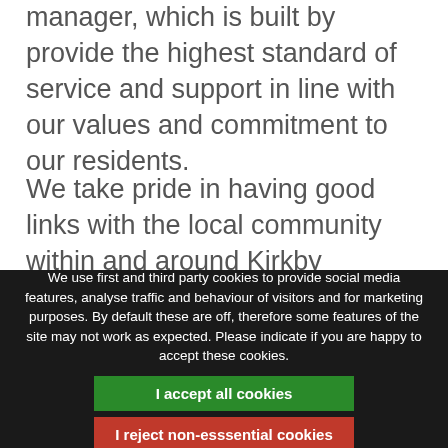manager, which is built by provide the highest standard of service and support in line with our values and commitment to our residents.
We take pride in having good links with the local community within and around Kirkby Lonsdale and we have always benefited from the help of local volunteers who are actively involved in events and activities both in our houses and in the area.
[Figure (other): Cookie consent overlay with dark background. Text reads: 'We use first and third party cookies to provide social media features, analyse traffic and behaviour of visitors and for marketing purposes. By default these are off, therefore some features of the site may not work as expected. Please indicate if you are happy to accept these cookies.' Two buttons: green 'I accept all cookies' and red 'I reject non-esssential cookies'.]
out-date and events, including room closing. Please note that these are not away